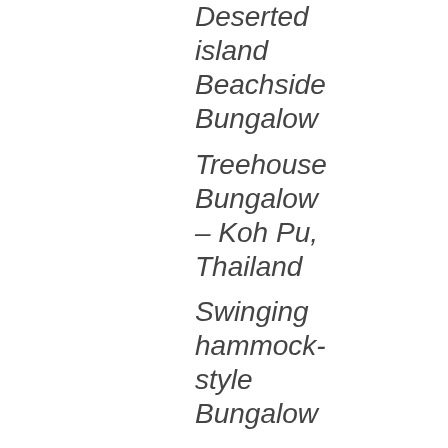Deserted island Beachside Bungalow
Treehouse Bungalow – Koh Pu, Thailand
Swinging hammock-style Bungalow